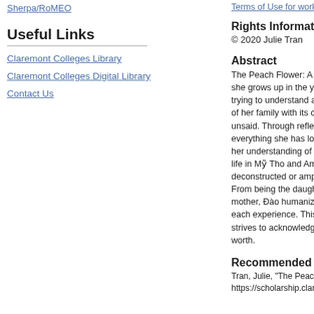Sherpa/RoMEO
Terms of Use for work posted...
Useful Links
Claremont Colleges Library
Claremont Colleges Digital Library
Contact Us
Rights Information
© 2020 Julie Tran
Abstract
The Peach Flower: A Memoir of she grows up in the years after trying to understand and a pre of her family with its complex unsaid. Through reflecting on everything she has lost, Đào sh her understanding of her role life in Mỹ Tho and America she deconstructed or amplified wi From being the daughter of he mother, Đào humanizes faceles each experience. This thesis fo strives to acknowledge the val worth.
Recommended Citation
Tran, Julie, "The Peach Flower: A Me https://scholarship.claremont.edu/